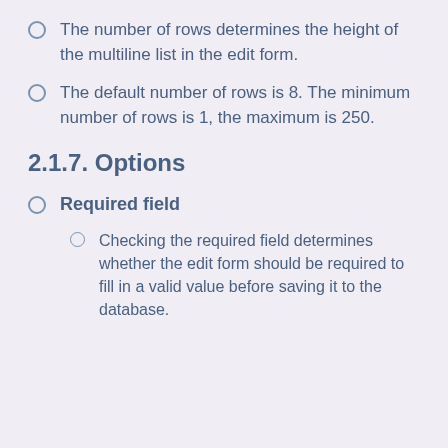The number of rows determines the height of the multiline list in the edit form.
The default number of rows is 8. The minimum number of rows is 1, the maximum is 250.
2.1.7. Options
Required field
Checking the required field determines whether the edit form should be required to fill in a valid value before saving it to the database.